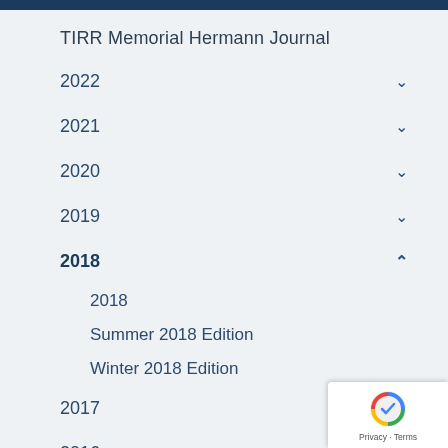TIRR Memorial Hermann Journal
2022
2021
2020
2019
2018
2018
Summer 2018 Edition
Winter 2018 Edition
2017
2016
2015
2014